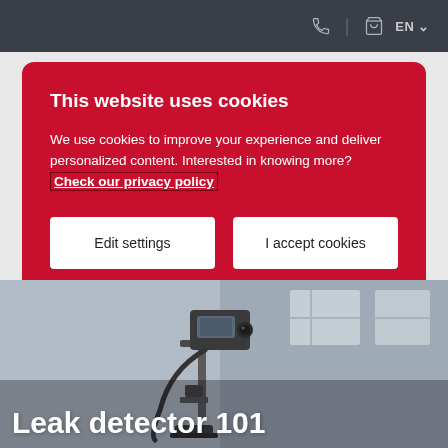EN
This website uses cookies
We use cookies to improve your experience and deliver personalized content. Interested in knowing more? Check our privacy policy
Edit settings
I accept cookies
[Figure (photo): Black and white photo of a leak detector device on a stand, partially visible]
Leak detector 101